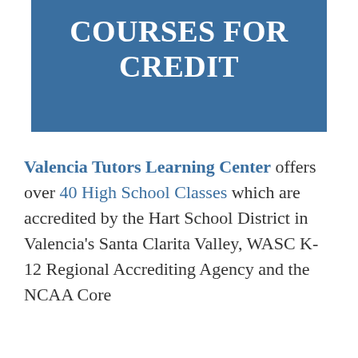COURSES FOR CREDIT
Valencia Tutors Learning Center offers over 40 High School Classes which are accredited by the Hart School District in Valencia's Santa Clarita Valley, WASC K-12 Regional Accrediting Agency and the NCAA Core